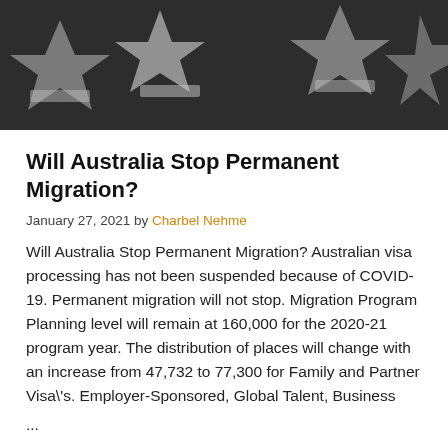[Figure (photo): Dark banner image with star/ribbon decorations on a dark grey/black background, partially visible at top of page]
Will Australia Stop Permanent Migration?
January 27, 2021 by Charbel Nehme
Will Australia Stop Permanent Migration? Australian visa processing has not been suspended because of COVID-19. Permanent migration will not stop. Migration Program Planning level will remain at 160,000 for the 2020-21 program year. The distribution of places will change with an increase from 47,732 to 77,300 for Family and Partner Visa's. Employer-Sponsored, Global Talent, Business
...